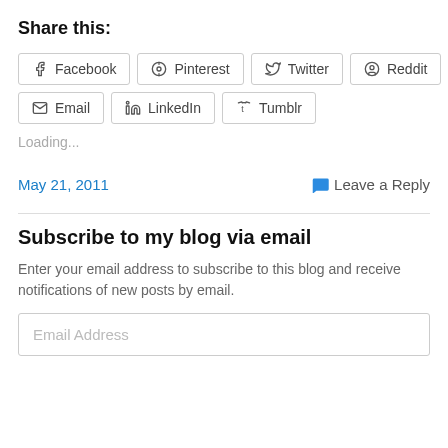Share this:
[Figure (infographic): Row of social share buttons: Facebook, Pinterest, Twitter, Reddit, Print]
[Figure (infographic): Row of social share buttons: Email, LinkedIn, Tumblr]
Loading...
May 21, 2011
Leave a Reply
Subscribe to my blog via email
Enter your email address to subscribe to this blog and receive notifications of new posts by email.
Email Address